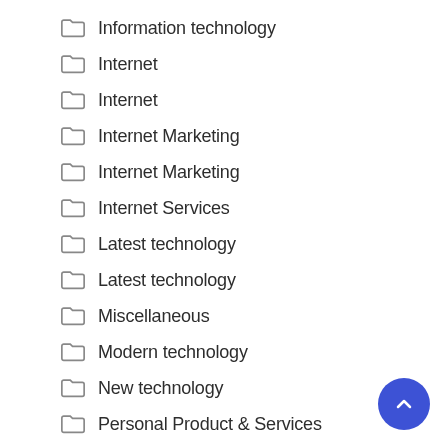Information technology
Internet
Internet
Internet Marketing
Internet Marketing
Internet Services
Latest technology
Latest technology
Miscellaneous
Modern technology
New technology
Personal Product & Services
Pets & Animals
Real Estate